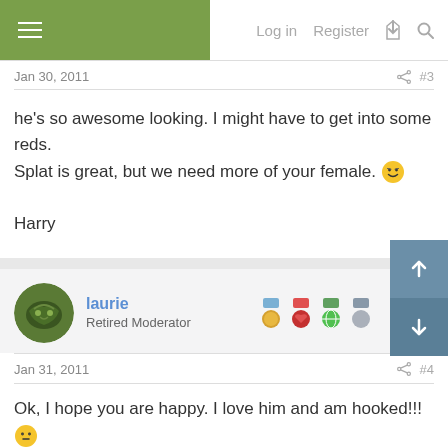Log in  Register
Jan 30, 2011  #3
he's so awesome looking. I might have to get into some reds.
Splat is great, but we need more of your female. 😀

Harry
laurie
Retired Moderator
Jan 31, 2011  #4
Ok, I hope you are happy. I love him and am hooked!!! 😐